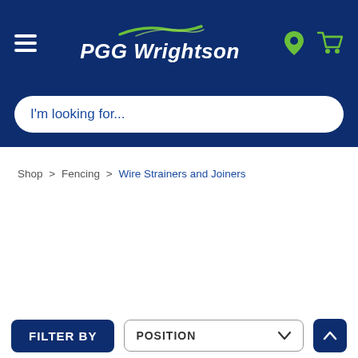[Figure (screenshot): PGG Wrightson website header with hamburger menu, logo with green swoosh, location pin icon, and shopping cart icon on dark blue background]
I'm looking for...
Shop > Fencing > Wire Strainers and Joiners
Wire Strainers and Joiners
Easy to use accessories to join wires on a permanent fence
FILTER BY
POSITION